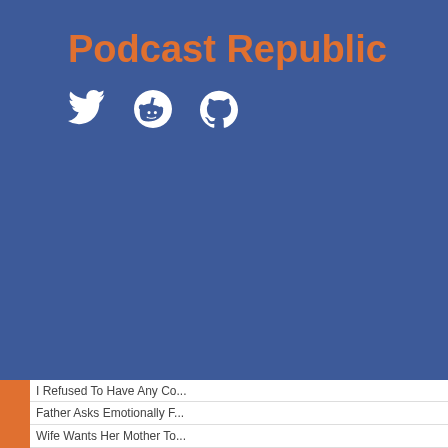Podcast Republic
[Figure (infographic): Social media icons: Twitter bird, Reddit alien, GitHub octocat — white on blue background]
I Refused To Have Any Co...
Father Asks Emotionally F...
Wife Wants Her Mother To...